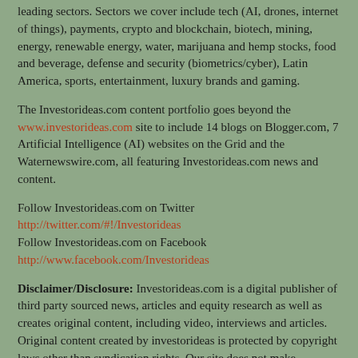leading sectors. Sectors we cover include tech (AI, drones, internet of things), payments, crypto and blockchain, biotech, mining, energy, renewable energy, water, marijuana and hemp stocks, food and beverage, defense and security (biometrics/cyber), Latin America, sports, entertainment, luxury brands and gaming.
The Investorideas.com content portfolio goes beyond the www.investorideas.com site to include 14 blogs on Blogger.com, 7 Artificial Intelligence (AI) websites on the Grid and the Waternewswire.com, all featuring Investorideas.com news and content.
Follow Investorideas.com on Twitter http://twitter.com/#!/Investorideas
Follow Investorideas.com on Facebook http://www.facebook.com/Investorideas
Disclaimer/Disclosure: Investorideas.com is a digital publisher of third party sourced news, articles and equity research as well as creates original content, including video, interviews and articles. Original content created by investorideas is protected by copyright laws other than syndication rights. Our site does not make recommendations for purchases or sale of stocks, services or products. Nothing on our sites should be construed as an offer or solicitation to buy or sell products or securities. All investment involves risk and possible loss of investment. This site is currently compensated for news publication and